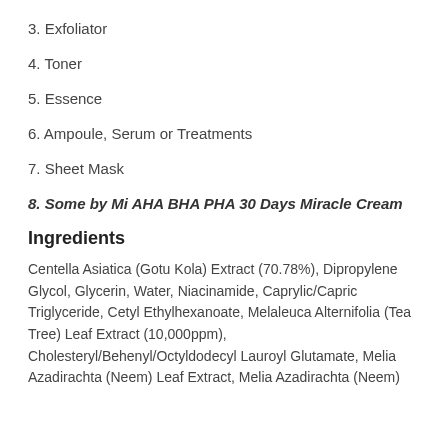3. Exfoliator
4. Toner
5. Essence
6. Ampoule, Serum or Treatments
7. Sheet Mask
8. Some by Mi AHA BHA PHA 30 Days Miracle Cream
Ingredients
Centella Asiatica (Gotu Kola) Extract (70.78%), Dipropylene Glycol, Glycerin, Water, Niacinamide, Caprylic/Capric Triglyceride, Cetyl Ethylhexanoate, Melaleuca Alternifolia (Tea Tree) Leaf Extract (10,000ppm), Cholesteryl/Behenyl/Octyldodecyl Lauroyl Glutamate, Melia Azadirachta (Neem) Leaf Extract, Melia Azadirachta (Neem)